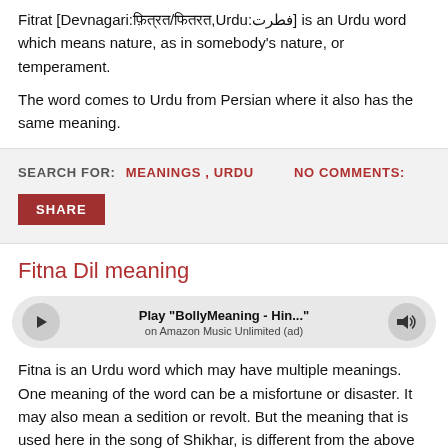Fitrat [Devnagari:फ़ित्रत/फितरत,Urdu:فطرت] is an Urdu word which means nature, as in somebody's nature, or temperament.
The word comes to Urdu from Persian where it also has the same meaning.
SEARCH FOR: MEANINGS , URDU    NO COMMENTS: SHARE
Fitna Dil meaning
[Figure (other): Audio player widget with play button, title 'Play "BollyMeaning - Hin..."', subtitle 'on Amazon Music Unlimited (ad)', and volume button]
Fitna is an Urdu word which may have multiple meanings. One meaning of the word can be a misfortune or disaster. It may also mean a sedition or revolt. But the meaning that is used here in the song of Shikhar, is different from the above